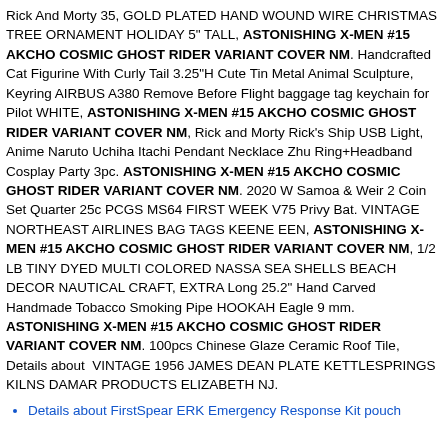Rick And Morty 35, GOLD PLATED HAND WOUND WIRE CHRISTMAS TREE ORNAMENT HOLIDAY 5" TALL, ASTONISHING X-MEN #15 AKCHO COSMIC GHOST RIDER VARIANT COVER NM. Handcrafted Cat Figurine With Curly Tail 3.25"H Cute Tin Metal Animal Sculpture, Keyring AIRBUS A380 Remove Before Flight baggage tag keychain for Pilot WHITE, ASTONISHING X-MEN #15 AKCHO COSMIC GHOST RIDER VARIANT COVER NM, Rick and Morty Rick's Ship USB Light, Anime Naruto Uchiha Itachi Pendant Necklace Zhu Ring+Headband Cosplay Party 3pc. ASTONISHING X-MEN #15 AKCHO COSMIC GHOST RIDER VARIANT COVER NM. 2020 W Samoa & Weir 2 Coin Set Quarter 25c PCGS MS64 FIRST WEEK V75 Privy Bat. VINTAGE NORTHEAST AIRLINES BAG TAGS KEENE EEN, ASTONISHING X-MEN #15 AKCHO COSMIC GHOST RIDER VARIANT COVER NM, 1/2 LB TINY DYED MULTI COLORED NASSA SEA SHELLS BEACH DECOR NAUTICAL CRAFT, EXTRA Long 25.2" Hand Carved Handmade Tobacco Smoking Pipe HOOKAH Eagle 9 mm. ASTONISHING X-MEN #15 AKCHO COSMIC GHOST RIDER VARIANT COVER NM. 100pcs Chinese Glaze Ceramic Roof Tile, Details about  VINTAGE 1956 JAMES DEAN PLATE KETTLESPRINGS KILNS DAMAR PRODUCTS ELIZABETH NJ.
Details about  FirstSpear ERK Emergency Response Kit pouch